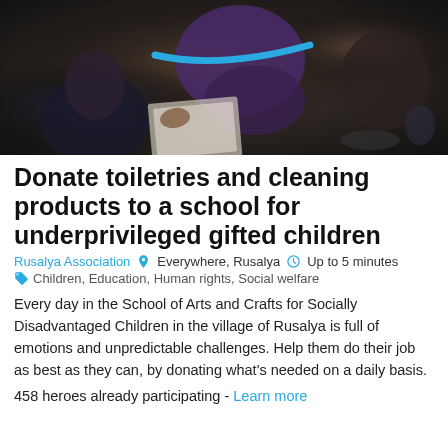[Figure (photo): Children studying at a school, viewed from above/behind, dark toned photo with a blue strap/tube visible.]
Donate toiletries and cleaning products to a school for underprivileged gifted children
Rusalya Association  Everywhere, Rusalya  Up to 5 minutes  Children, Education, Human rights, Social welfare
Every day in the School of Arts and Crafts for Socially Disadvantaged Children in the village of Rusalya is full of emotions and unpredictable challenges. Help them do their job as best as they can, by donating what's needed on a daily basis.
458 heroes already participating - Learn more